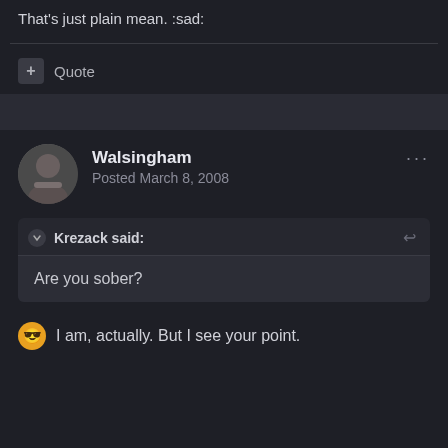That's just plain mean. :sad:
+ Quote
Walsingham
Posted March 8, 2008
Krezack said:
Are you sober?
I am, actually. But I see your point.